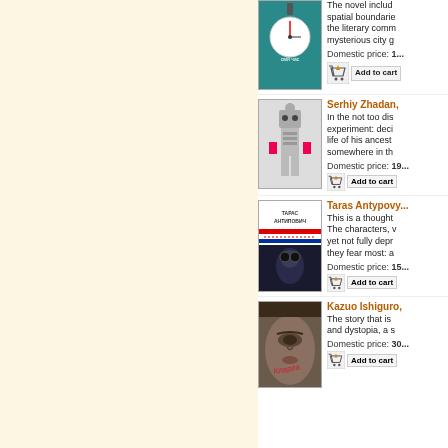[Figure (illustration): Book cover: свій час (Own Time) - teal/green cover with a clock face]
The novel includes spatial boundaries the literary comm mysterious city g
Domestic price: 1...
[Figure (illustration): Add to cart button with shopping cart icon]
Serhiy Zhadan,
[Figure (illustration): Book cover: grey/white cover with robotic figure and pink accents]
In the not too distant future experiment: deci life of his ancest somewhere in th
Domestic price: 19...
[Figure (illustration): Add to cart button with shopping cart icon]
Taras Antypovy...
[Figure (illustration): Book cover: Taras Antypovych book - white top with blue/red stripes, dark bottom with face]
This is a thought... The characters, v yet not fully depr they fear most: a
Domestic price: 15...
[Figure (illustration): Add to cart button with shopping cart icon]
Kazuo Ishiguro,
[Figure (illustration): Book cover: Kazuo Ishiguro - dark/sepia cover with face illustration]
The story that is and dystopia, a s
Domestic price: 30...
[Figure (illustration): Add to cart button with shopping cart icon]